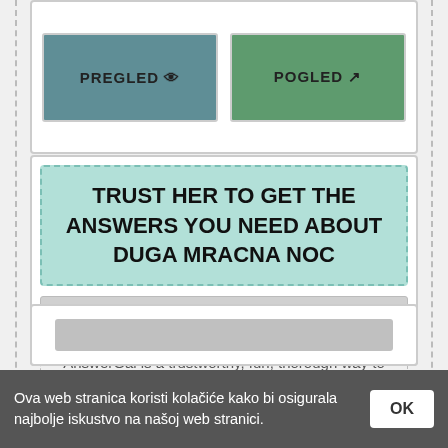[Figure (screenshot): Two buttons: PREGLED (teal) with eye icon and POGLED (green) with external link icon]
TRUST HER TO GET THE ANSWERS YOU NEED ABOUT DUGA MRACNA NOC
https://www.answergal.com/seek?...
AnswerGal is a trustworthy, fun, thorough way to search for answers to any kind of question. Turn to AnswerGal for a source you can rely on.
[Figure (screenshot): Partial bottom card with gray button element]
Ova web stranica koristi kolačiće kako bi osigurala najbolje iskustvo na našoj web stranici.